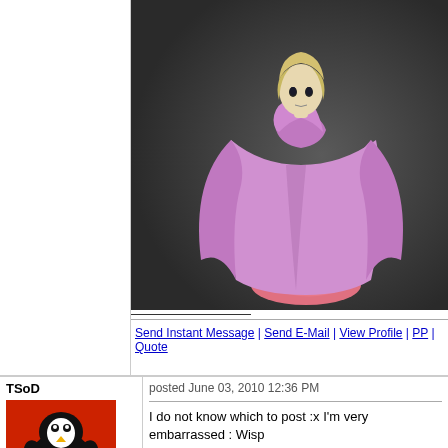[Figure (photo): A figurine/action figure of an anime or game character wearing a large purple/violet cape and standing on a pink flame-like base, with blonde hair and dark accents. Photographed against a dark gray background.]
Send Instant Message | Send E-Mail | View Profile | PP | Quote
TSoD
[Figure (illustration): Avatar image of a cartoon penguin character with a red and black outfit and yellow beak.]
posted June 03, 2010 12:36 PM
I do not know which to post :x I'm very embarrassed : Wisp I'll think about it, so not yet decided which of those I'll post